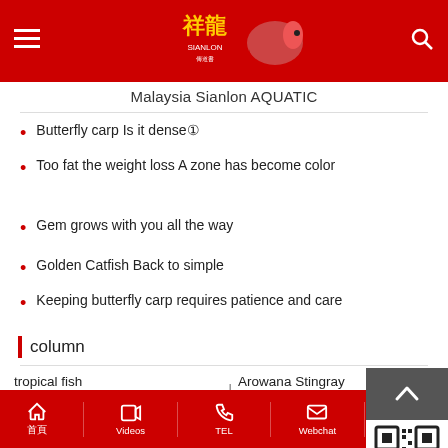Malaysia Sianlon AQUATIC
Butterfly carp Is it dense①
Too fat the weight loss A zone has become color
Gem grows with you all the way
Golden Catfish Back to simple
Keeping butterfly carp requires patience and care
column
tropical fish
  L Asian Arowana
  L Tiger fish
  L Aquarium Accessory
L Arowana Stingray Tiger Fish
  L Stingray
L Fish Medicine and AROWAN...
L Mixed fish